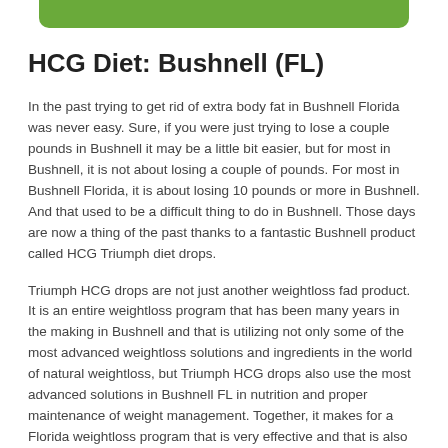[Figure (other): Green rounded rectangle bar at top of page]
HCG Diet: Bushnell (FL)
In the past trying to get rid of extra body fat in Bushnell Florida was never easy. Sure, if you were just trying to lose a couple pounds in Bushnell it may be a little bit easier, but for most in Bushnell, it is not about losing a couple of pounds. For most in Bushnell Florida, it is about losing 10 pounds or more in Bushnell. And that used to be a difficult thing to do in Bushnell. Those days are now a thing of the past thanks to a fantastic Bushnell product called HCG Triumph diet drops.
Triumph HCG drops are not just another weightloss fad product. It is an entire weightloss program that has been many years in the making in Bushnell and that is utilizing not only some of the most advanced weightloss solutions and ingredients in the world of natural weightloss, but Triumph HCG drops also use the most advanced solutions in Bushnell FL in nutrition and proper maintenance of weight management. Together, it makes for a Florida weightloss program that is very effective and that is also incredibly quick in Bushnell. With the Triumph HCG Drops, you will lose fat more quickly and efficiently than with anything else in